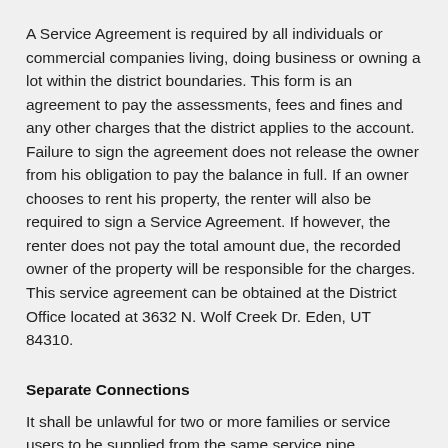A Service Agreement is required by all individuals or commercial companies living, doing business or owning a lot within the district boundaries. This form is an agreement to pay the assessments, fees and fines and any other charges that the district applies to the account. Failure to sign the agreement does not release the owner from his obligation to pay the balance in full. If an owner chooses to rent his property, the renter will also be required to sign a Service Agreement. If however, the renter does not pay the total amount due, the recorded owner of the property will be responsible for the charges. This service agreement can be obtained at the District Office located at 3632 N. Wolf Creek Dr. Eden, UT 84310.
Separate Connections
It shall be unlawful for two or more families or service users to be supplied from the same service pipe,